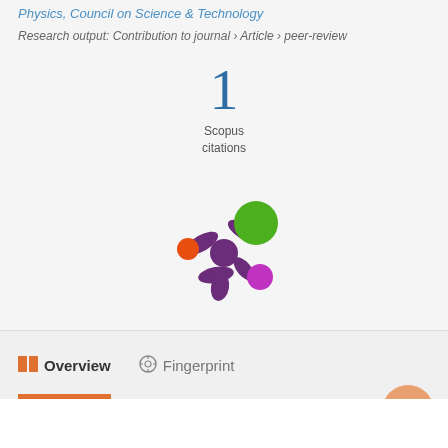Physics, Council on Science & Technology
Research output: Contribution to journal › Article › peer-review
1
Scopus
citations
[Figure (logo): Altmetric logo — purple asterisk/star shape with orange, green, and purple/magenta colored circles]
Overview
Fingerprint
Abstract